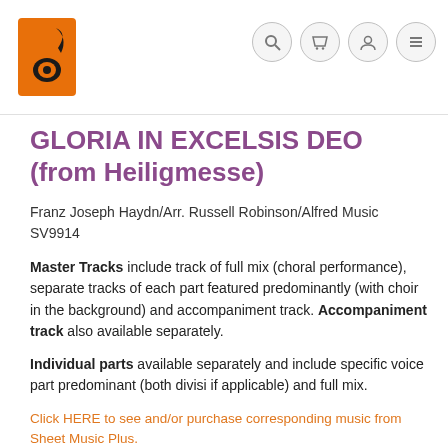Sheet Music Plus navigation bar with logo and icons
GLORIA IN EXCELSIS DEO (from Heiligmesse)
Franz Joseph Haydn/Arr. Russell Robinson/Alfred Music SV9914
Master Tracks include track of full mix (choral performance), separate tracks of each part featured predominantly (with choir in the background) and accompaniment track. Accompaniment track also available separately.
Individual parts available separately and include specific voice part predominant (both divisi if applicable) and full mix.
Click HERE to see and/or purchase corresponding music from Sheet Music Plus.